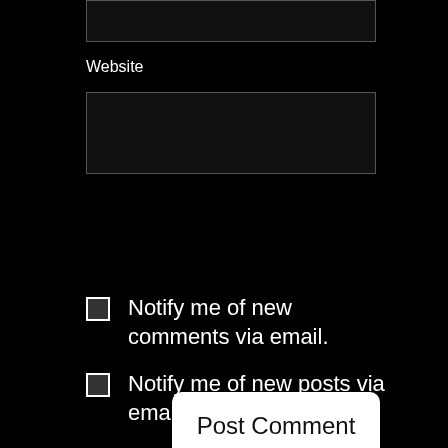[Figure (screenshot): Partial top input box (cropped at top of page)]
Website
[Figure (screenshot): Website input text field box]
Post Comment
Notify me of new comments via email.
Notify me of new posts via email.